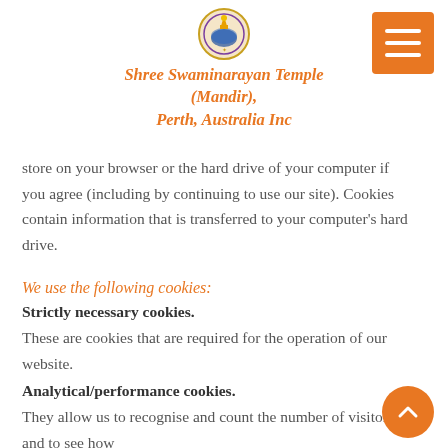Shree Swaminarayan Temple (Mandir), Perth, Australia Inc
store on your browser or the hard drive of your computer if you agree (including by continuing to use our site). Cookies contain information that is transferred to your computer's hard drive.
We use the following cookies:
Strictly necessary cookies.
These are cookies that are required for the operation of our website.
Analytical/performance cookies.
They allow us to recognise and count the number of visitors and to see how